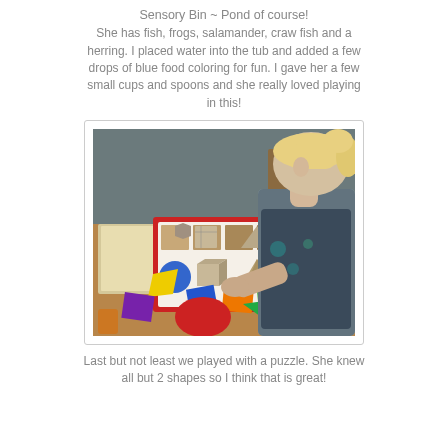Sensory Bin ~ Pond of course! She has fish, frogs, salamander, craw fish and a herring. I placed water into the tub and added a few drops of blue food coloring for fun. I gave her a few small cups and spoons and she really loved playing in this!
[Figure (photo): A young blonde girl sitting at a wooden table, playing with colorful geometric shape puzzle pieces. A shape-matching board with various 3D shapes (circle, cube, pyramid, hexagon, etc.) in brown tones is visible on the table, along with several brightly colored flat shapes (blue, orange, yellow, green, purple, red) spread on the table surface. The girl is reaching toward the shapes.]
Last but not least we played with a puzzle. She knew all but 2 shapes so I think that is great!